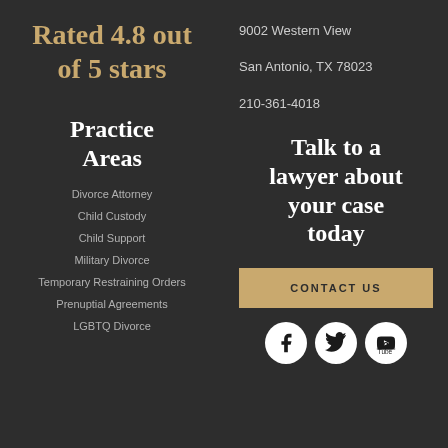Rated 4.8 out of 5 stars
9002 Western View
San Antonio, TX 78023
210-361-4018
Practice Areas
Talk to a lawyer about your case today
Divorce Attorney
Child Custody
Child Support
Military Divorce
Temporary Restraining Orders
Prenuptial Agreements
LGBTQ Divorce
CONTACT US
[Figure (illustration): Social media icons: Facebook, Twitter, YouTube]